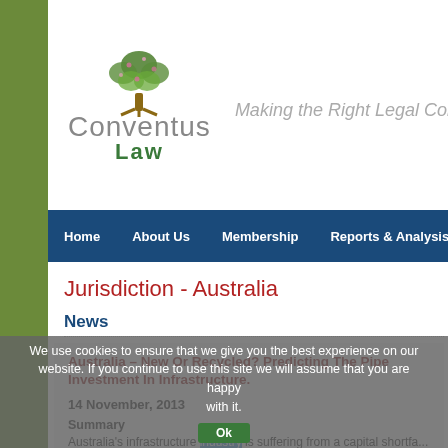[Figure (logo): Conventus Law logo with green tree and text 'Conventus Law – Making the Right Legal Con...']
Home   About Us   Membership   Reports & Analysis   Vide...
Jurisdiction - Australia
News
Australia – New Or Recycled? Predicting The Pipe... Investment In Infrastructure.
14 November, 2013
We use cookies to ensure that we give you the best experience on our website. If you continue to use this site we will assume that you are happy with it.
Summary
Australia's infrastructure industry is suffering from a capital shortfa... be mutually beneficial for, superannuation industry investors.